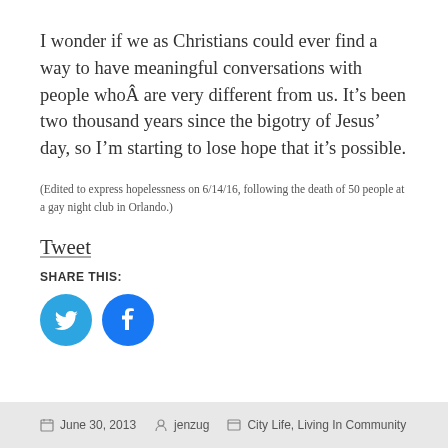I wonder if we as Christians could ever find a way to have meaningful conversations with people whoÂ are very different from us. It's been two thousand years since the bigotry of Jesus' day, so I'm starting to lose hope that it's possible.
(Edited to express hopelessness on 6/14/16, following the death of 50 people at a gay night club in Orlando.)
Tweet
SHARE THIS:
[Figure (other): Twitter and Facebook share icon buttons (circular blue icons)]
June 30, 2013   jenzug   City Life, Living In Community